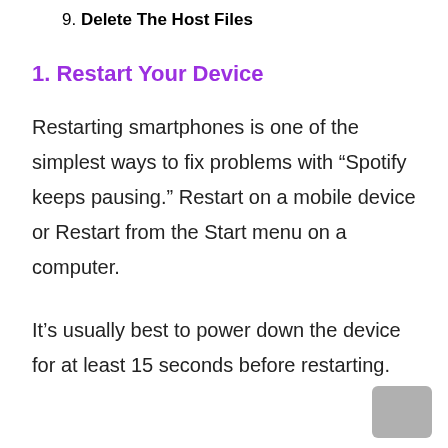9. Delete The Host Files
1. Restart Your Device
Restarting smartphones is one of the simplest ways to fix problems with “Spotify keeps pausing.” Restart on a mobile device or Restart from the Start menu on a computer.
It’s usually best to power down the device for at least 15 seconds before restarting.